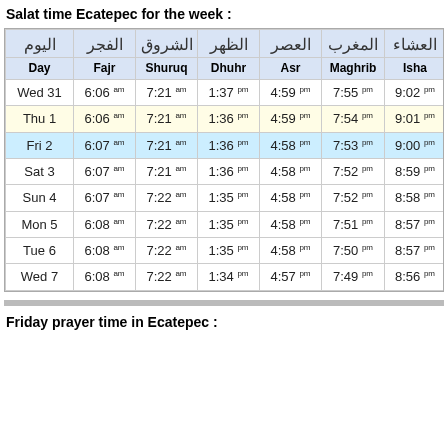Salat time Ecatepec for the week :
| ['اليوم', 'الفجر', 'الشروق', 'الظهر', 'العصر', 'المغرب', 'العشاء'] | ['Day', 'Fajr', 'Shuruq', 'Dhuhr', 'Asr', 'Maghrib', 'Isha'] |
| --- | --- |
| Wed 31 | 6:06 AM | 7:21 AM | 1:37 PM | 4:59 PM | 7:55 PM | 9:02 PM |
| Thu 1 | 6:06 AM | 7:21 AM | 1:36 PM | 4:59 PM | 7:54 PM | 9:01 PM |
| Fri 2 | 6:07 AM | 7:21 AM | 1:36 PM | 4:58 PM | 7:53 PM | 9:00 PM |
| Sat 3 | 6:07 AM | 7:21 AM | 1:36 PM | 4:58 PM | 7:52 PM | 8:59 PM |
| Sun 4 | 6:07 AM | 7:22 AM | 1:35 PM | 4:58 PM | 7:52 PM | 8:58 PM |
| Mon 5 | 6:08 AM | 7:22 AM | 1:35 PM | 4:58 PM | 7:51 PM | 8:57 PM |
| Tue 6 | 6:08 AM | 7:22 AM | 1:35 PM | 4:58 PM | 7:50 PM | 8:57 PM |
| Wed 7 | 6:08 AM | 7:22 AM | 1:34 PM | 4:57 PM | 7:49 PM | 8:56 PM |
Friday prayer time in Ecatepec :